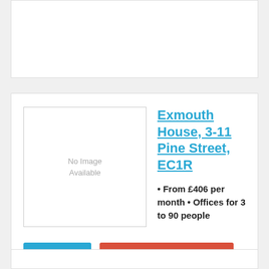[Figure (other): Partial white card at top of page, cut off]
Exmouth House, 3-11 Pine Street, EC1R
• From £406 per month • Offices for 3 to 90 people
Read More
Free Quote / Book A Tour
Just steps from Spa Fields Park · 176 yards from NCP Car Park London Farringdon · 0.3 miles from Clerkenwell Green Bike hire station · 0.4 miles from Farringdon Underground station
[Figure (other): Partial white card at bottom of page, cut off]